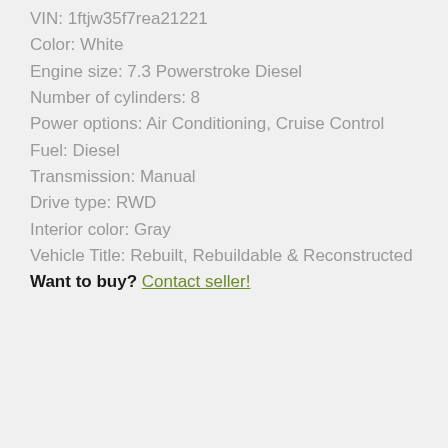VIN: 1ftjw35f7rea21221
Color: White
Engine size: 7.3 Powerstroke Diesel
Number of cylinders: 8
Power options: Air Conditioning, Cruise Control
Fuel: Diesel
Transmission: Manual
Drive type: RWD
Interior color: Gray
Vehicle Title: Rebuilt, Rebuildable & Reconstructed
Want to buy? Contact seller!